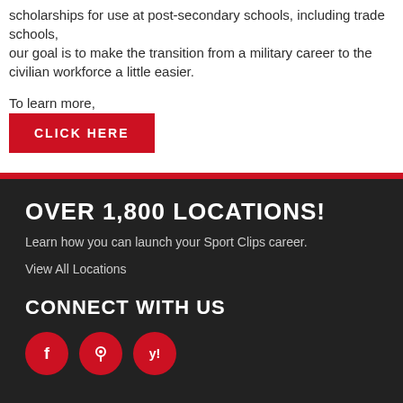scholarships for use at post-secondary schools, including trade schools, our goal is to make the transition from a military career to the civilian workforce a little easier.
To learn more,
CLICK HERE
OVER 1,800 LOCATIONS!
Learn how you can launch your Sport Clips career.
View All Locations
CONNECT WITH US
[Figure (illustration): Three red circular social media icons: Facebook, Google Maps/Places, and Yelp]